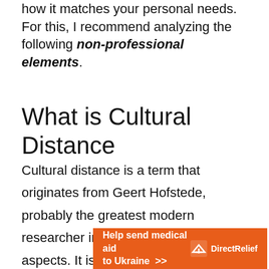how it matches your personal needs. For this, I recommend analyzing the following non-professional elements.
What is Cultural Distance
Cultural distance is a term that originates from Geert Hofstede, probably the greatest modern researcher in comparative cultural aspects. It is a method of measuring the differences in values and behaviors between cultures. Cultural distance metrics have been applied to
[Figure (infographic): Orange advertisement banner: 'Help send medical aid to Ukraine >>' with Direct Relief logo on the right side]